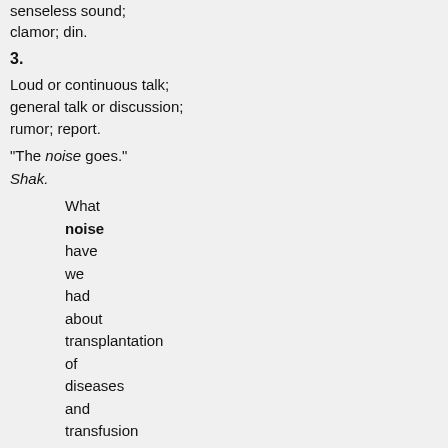senseless sound; clamor; din.
3.
Loud or continuous talk; general talk or discussion; rumor; report.
"The noise goes."
Shak.
What noise have we had about transplantation of diseases and transfusion of blood! T. Baker.
Soerates lived in Athens